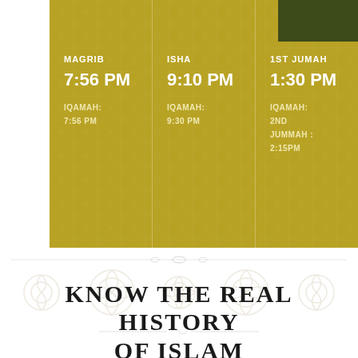| MAGRIB | ISHA | 1ST JUMAH |
| --- | --- | --- |
| 7:56 PM | 9:10 PM | 1:30 PM |
| IQAMAH: 7:56 PM | IQAMAH: 9:30 PM | IQAMAH: 2ND JUMMAH : 2:15PM |
[Figure (illustration): Decorative arabesque/Islamic floral ornament pattern in light beige/cream]
KNOW THE REAL HISTORY OF ISLAM